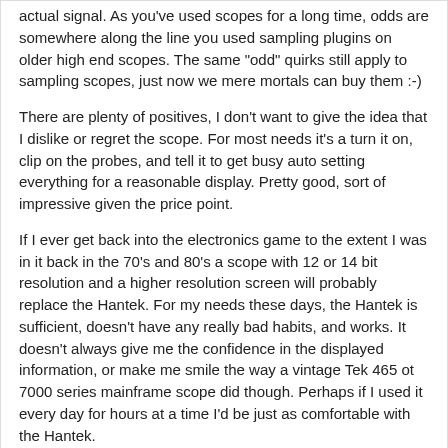actual signal. As you've used scopes for a long time, odds are somewhere along the line you used sampling plugins on older high end scopes. The same "odd" quirks still apply to sampling scopes, just now we mere mortals can buy them :-)
There are plenty of positives, I don't want to give the idea that I dislike or regret the scope. For most needs it's a turn it on, clip on the probes, and tell it to get busy auto setting everything for a reasonable display. Pretty good, sort of impressive given the price point.
If I ever get back into the electronics game to the extent I was in it back in the 70's and 80's a scope with 12 or 14 bit resolution and a higher resolution screen will probably replace the Hantek. For my needs these days, the Hantek is sufficient, doesn't have any really bad habits, and works. It doesn't always give me the confidence in the displayed information, or make me smile the way a vintage Tek 465 ot 7000 series mainframe scope did though. Perhaps if I used it every day for hours at a time I'd be just as comfortable with the Hantek.
Cheers,
Stan
Likes  2
nickel-city-fab replied
04-15-2021, 10:50 AM
Siglent seems good, but quite honestly I prefer used Tek over almost